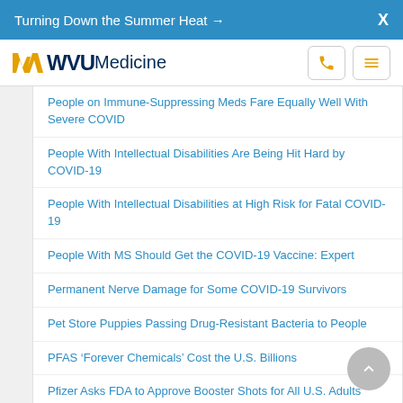Turning Down the Summer Heat →  X
[Figure (logo): WVU Medicine logo with flying WV symbol in gold and WVU in dark blue, Medicine in dark blue. Navigation icons for phone and hamburger menu.]
People on Immune-Suppressing Meds Fare Equally Well With Severe COVID
People With Intellectual Disabilities Are Being Hit Hard by COVID-19
People With Intellectual Disabilities at High Risk for Fatal COVID-19
People With MS Should Get the COVID-19 Vaccine: Expert
Permanent Nerve Damage for Some COVID-19 Survivors
Pet Store Puppies Passing Drug-Resistant Bacteria to People
PFAS 'Forever Chemicals' Cost the U.S. Billions
Pfizer Asks FDA to Approve Booster Shots for All U.S. Adults
Pfizer Asks FDA to Approve Second Booster for Seniors